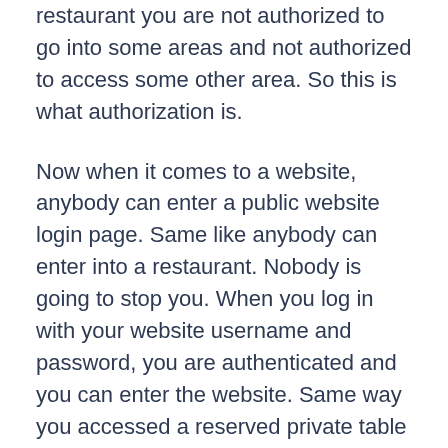restaurant you are not authorized to go into some areas and not authorized to access some other area. So this is what authorization is.
Now when it comes to a website, anybody can enter a public website login page. Same like anybody can enter into a restaurant. Nobody is going to stop you. When you log in with your website username and password, you are authenticated and you can enter the website. Same way you accessed a reserved private table in a restaurant using a reservation. But then after entering, and after authentication, you can access some sections, but you may not be able to access